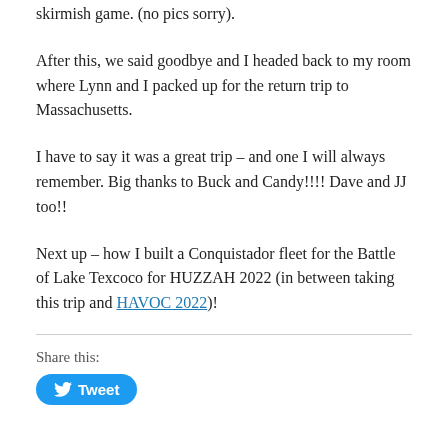skirmish game. (no pics sorry).
After this, we said goodbye and I headed back to my room where Lynn and I packed up for the return trip to Massachusetts.
I have to say it was a great trip – and one I will always remember. Big thanks to Buck and Candy!!!! Dave and JJ too!!
Next up – how I built a Conquistador fleet for the Battle of Lake Texcoco for HUZZAH 2022 (in between taking this trip and HAVOC 2022)!
Share this:
[Figure (other): Tweet button with Twitter bird icon]